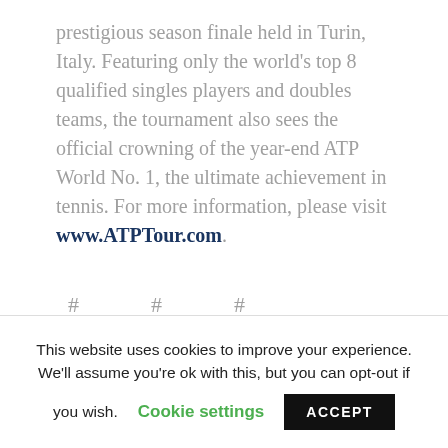prestigious season finale held in Turin, Italy. Featuring only the world's top 8 qualified singles players and doubles teams, the tournament also sees the official crowning of the year-end ATP World No. 1, the ultimate achievement in tennis. For more information, please visit www.ATPTour.com.
# # #
MEDIA CONTACT:
This website uses cookies to improve your experience. We'll assume you're ok with this, but you can opt-out if you wish. Cookie settings ACCEPT